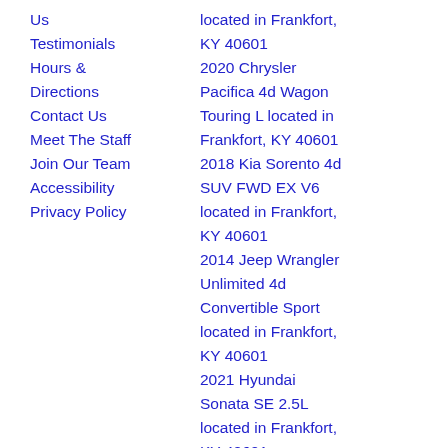Us
Testimonials
Hours & Directions
Contact Us
Meet The Staff
Join Our Team
Accessibility
Privacy Policy
located in Frankfort, KY 40601
2020 Chrysler Pacifica 4d Wagon Touring L located in Frankfort, KY 40601
2018 Kia Sorento 4d SUV FWD EX V6 located in Frankfort, KY 40601
2014 Jeep Wrangler Unlimited 4d Convertible Sport located in Frankfort, KY 40601
2021 Hyundai Sonata SE 2.5L located in Frankfort, KY 40601
2017 Ford Fusion 4d Sedan SE 2.5L located in Frankfort, KY 40601
2018 Ford Fusion 4d Sedan Titanium AWD